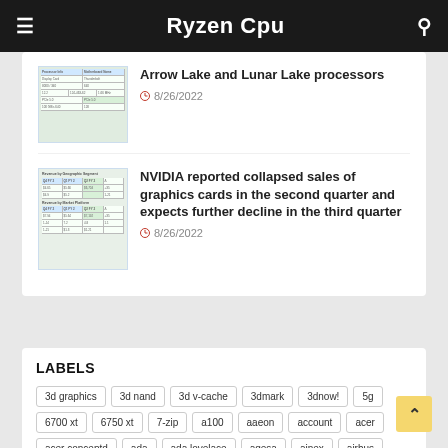Ryzen Cpu
Arrow Lake and Lunar Lake processors
8/26/2022
NVIDIA reported collapsed sales of graphics cards in the second quarter and expects further decline in the third quarter
8/26/2022
LABELS
3d graphics
3d nand
3d v-cache
3dmark
3dnow!
5g
6700 xt
6750 xt
7-zip
a100
aaeon
account
acer
acer conceptd
ada
ada lovelace
agesa
ainex
airbus
akasa
alchemist
aldebaran
alder lake
alienware